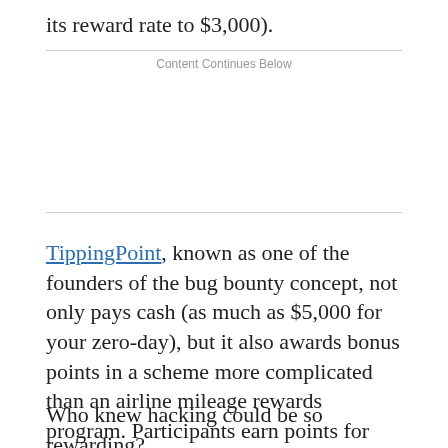its reward rate to $3,000).
Content Continues Below
TippingPoint, known as one of the founders of the bug bounty concept, not only pays cash (as much as $5,000 for your zero-day), but it also awards bonus points in a scheme more complicated than an airline mileage rewards program. Participants earn points for referring others into the program, for each zero-day they submit and so on. These points gain you bonuses for your hacks, and other goodies like all-expense-paid trips to hacker conferences like Black Hat.
Who knew hacking could be so rewarding?